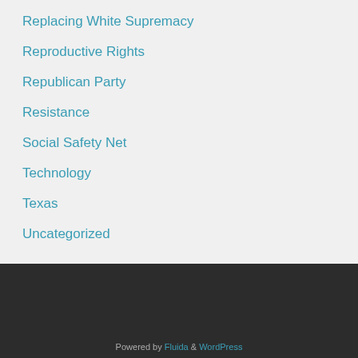Replacing White Supremacy
Reproductive Rights
Republican Party
Resistance
Social Safety Net
Technology
Texas
Uncategorized
Powered by Fluida & WordPress